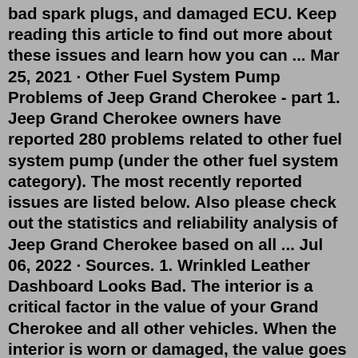bad spark plugs, and damaged ECU. Keep reading this article to find out more about these issues and learn how you can ... Mar 25, 2021 · Other Fuel System Pump Problems of Jeep Grand Cherokee - part 1. Jeep Grand Cherokee owners have reported 280 problems related to other fuel system pump (under the other fuel system category). The most recently reported issues are listed below. Also please check out the statistics and reliability analysis of Jeep Grand Cherokee based on all ... Jul 06, 2022 · Sources. 1. Wrinkled Leather Dashboard Looks Bad. The interior is a critical factor in the value of your Grand Cherokee and all other vehicles. When the interior is worn or damaged, the value goes down. So when the leather-covered dash starts to wrinkle, peel, and crack, the value has deteriorated. Dec 07, 2012 · Or in this case the pump shuts off because it feels the back pressure. Easy way to find out is to feel the hoses around the canister for any debree in it, if so replace the canister and blow out the hoses. Or the nozzle just